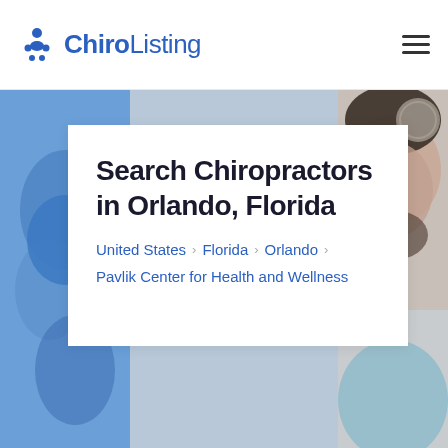ChiroListing
[Figure (photo): Background photo of chiropractor in blue gloves (left) and man's face (right) forming hero image behind a white card]
Search Chiropractors in Orlando, Florida
United States > Florida > Orlando
Pavlik Center for Health and Wellness